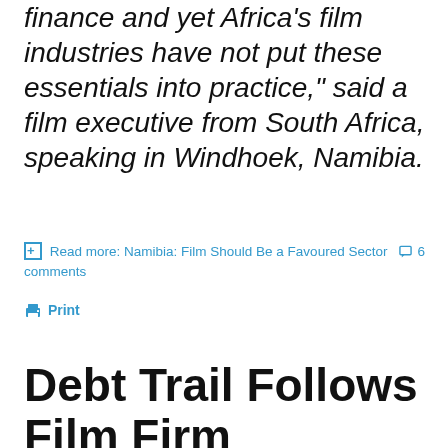finance and yet Africa's film industries have not put these essentials into practice," said a film executive from South Africa, speaking in Windhoek, Namibia.
Read more: Namibia: Film Should Be a Favoured Sector  6 comments
Print
Debt Trail Follows Film Firm Downunder